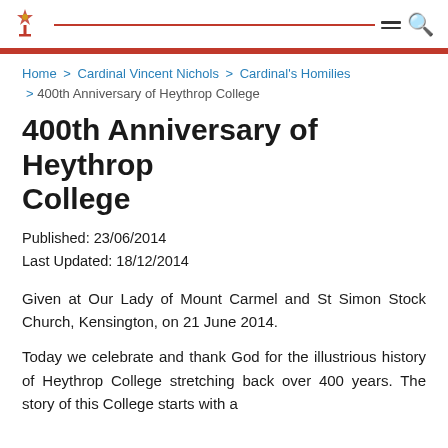Home > Cardinal Vincent Nichols > Cardinal's Homilies > 400th Anniversary of Heythrop College
400th Anniversary of Heythrop College
Published: 23/06/2014
Last Updated: 18/12/2014
Given at Our Lady of Mount Carmel and St Simon Stock Church, Kensington, on 21 June 2014.
Today we celebrate and thank God for the illustrious history of Heythrop College stretching back over 400 years. The story of this College starts with a